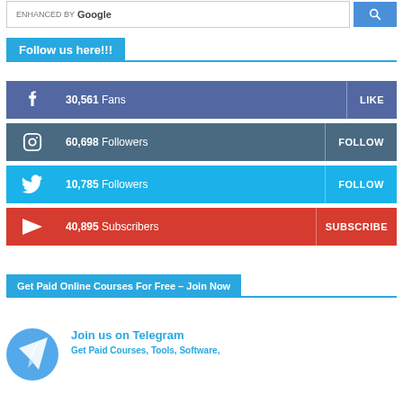[Figure (screenshot): Google enhanced search bar with blue search button]
Follow us here!!!
30,561 Fans  LIKE
60,698 Followers  FOLLOW
10,785 Followers  FOLLOW
40,895 Subscribers  SUBSCRIBE
Get Paid Online Courses For Free – Join Now
Join us on Telegram
Get Paid Courses, Tools, Software,